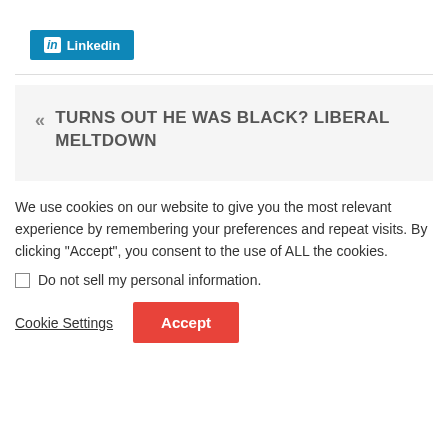[Figure (logo): LinkedIn share button — blue rectangle with 'in' icon and 'Linkedin' text in white]
« TURNS OUT HE WAS BLACK? LIBERAL MELTDOWN
We use cookies on our website to give you the most relevant experience by remembering your preferences and repeat visits. By clicking "Accept", you consent to the use of ALL the cookies.
Do not sell my personal information.
Cookie Settings   Accept